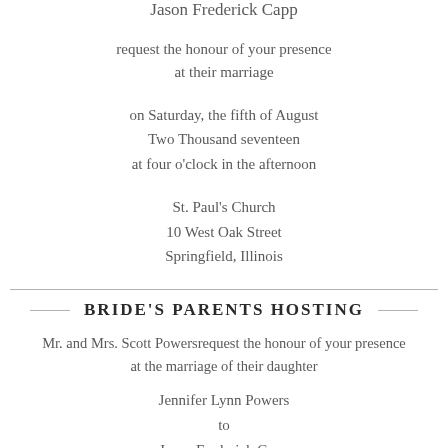Jason Frederick Capp
request the honour of your presence
at their marriage
on Saturday, the fifth of August
Two Thousand seventeen
at four o'clock in the afternoon
St. Paul's Church
10 West Oak Street
Springfield, Illinois
BRIDE'S PARENTS HOSTING
Mr. and Mrs. Scott Powersrequest the honour of your presence
at the marriage of their daughter
Jennifer Lynn Powers
to
Jason Frederick Capp